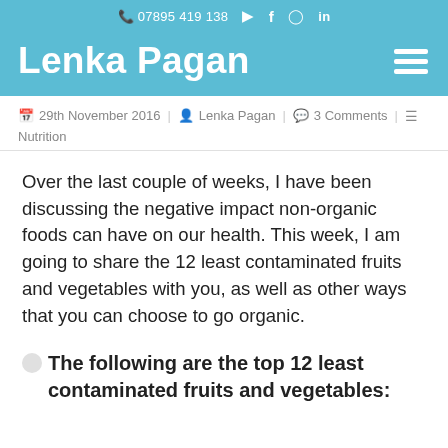📞 07895 419 138  ▶  f  🔲  in
Lenka Pagan
29th November 2016  Lenka Pagan  3 Comments  Nutrition
Over the last couple of weeks, I have been discussing the negative impact non-organic foods can have on our health. This week, I am going to share the 12 least contaminated fruits and vegetables with you, as well as other ways that you can choose to go organic.
The following are the top 12 least contaminated fruits and vegetables: